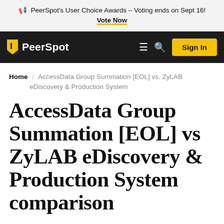PeerSpot's User Choice Awards – Voting ends on Sept 16! Vote Now
PeerSpot  Sign In
Home / AccessData Group Summation [EOL] vs. ZyLAB eDiscovery & Production System
AccessData Group Summation [EOL] vs ZyLAB eDiscovery & Production System comparison